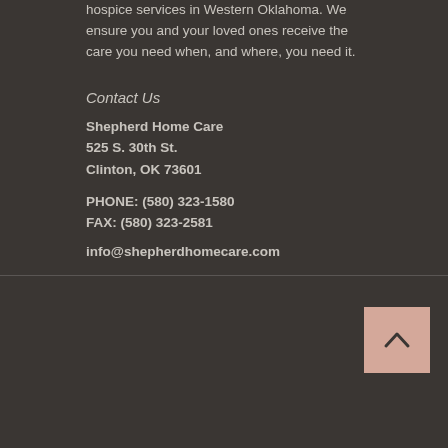hospice services in Western Oklahoma. We ensure you and your loved ones receive the care you need when, and where, you need it.
Contact Us
Shepherd Home Care
525 S. 30th St.
Clinton, OK 73601
PHONE: (580) 323-1580
FAX: (580) 323-2581
info@shepherdhomecare.com